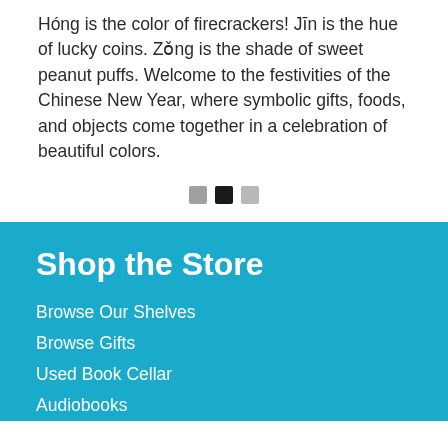Hóng is the color of firecrackers! Jīn is the hue of lucky coins. Zǒng is the shade of sweet peanut puffs. Welcome to the festivities of the Chinese New Year, where symbolic gifts, foods, and objects come together in a celebration of beautiful colors.
[Figure (other): Three small squares used as navigation dots — medium gray, black, and light gray]
Shop the Store
Browse Our Shelves
Browse Gifts
Used Book Cellar
Audiobooks